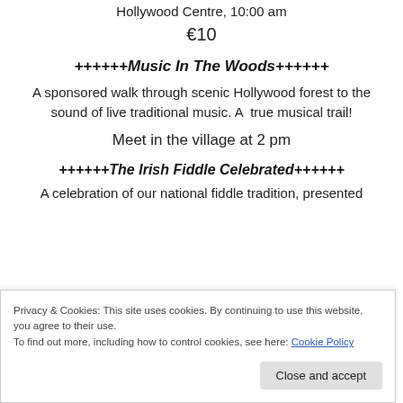Hollywood Centre, 10:00 am
€10
++++++Music In The Woods++++++
A sponsored walk through scenic Hollywood forest to the sound of live traditional music. A  true musical trail!
Meet in the village at 2 pm
++++++The Irish Fiddle Celebrated++++++
A celebration of our national fiddle tradition, presented
Privacy & Cookies: This site uses cookies. By continuing to use this website, you agree to their use.
To find out more, including how to control cookies, see here: Cookie Policy
Close and accept